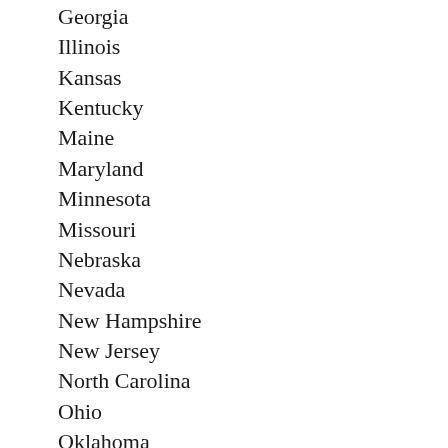Georgia
Illinois
Kansas
Kentucky
Maine
Maryland
Minnesota
Missouri
Nebraska
Nevada
New Hampshire
New Jersey
North Carolina
Ohio
Oklahoma
Pennsylvania
Tennessee
Texas
Utah